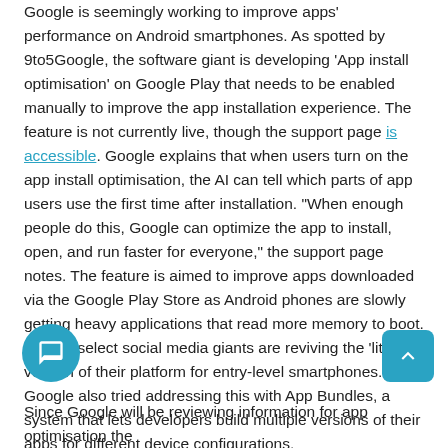Google is seemingly working to improve apps' performance on Android smartphones. As spotted by 9to5Google, the software giant is developing 'App install optimisation' on Google Play that needs to be enabled manually to improve the app installation experience. The feature is not currently live, though the support page is accessible. Google explains that when users turn on the app install optimisation, the AI can tell which parts of app users use the first time after installation. "When enough people do this, Google can optimize the app to install, open, and run faster for everyone," the support page notes. The feature is aimed to improve apps downloaded via the Google Play Store as Android phones are slowly getting heavy applications that read more memory to boot. Hence, select social media giants are reviving the 'lite' version of their platform for entry-level smartphones. Google also tried addressing this with App Bundles, a system that lets developers build multiple versions of their apps for different device configurations.
Since Google will be reviewing information for app optimisation the